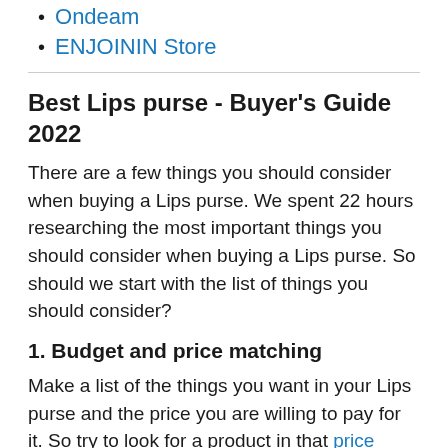Ondeam
ENJOININ Store
Best Lips purse - Buyer's Guide 2022
There are a few things you should consider when buying a Lips purse. We spent 22 hours researching the most important things you should consider when buying a Lips purse. So should we start with the list of things you should consider?
1. Budget and price matching
Make a list of the things you want in your Lips purse and the price you are willing to pay for it. So try to look for a product in that price range and choose the one that appeals to you the most. One tip we would like to give you is: don't settle for a cheaper product if it doesn't even have a function you need.